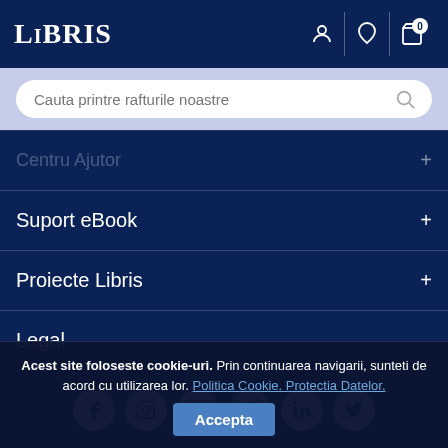LIBRIS
Cauta printre rafturile noastre
Suport eBook
Proiecte Libris
Legal
[Figure (other): Social media icons row: Facebook, Instagram, YouTube, Pinterest, LinkedIn, Twitter]
Despre noi | Termeni si conditii | Cum cumpăr | Contact
Acest site foloseste cookie-uri. Prin continuarea navigarii, sunteti de acord cu utilizarea lor. Politica Cookie. Protectia Datelor.
Accepta